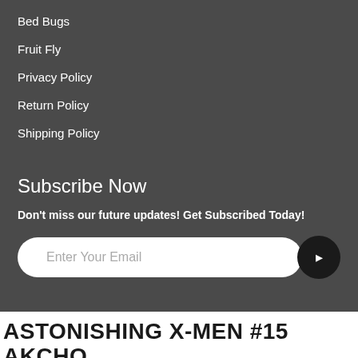Bed Bugs
Fruit Fly
Privacy Policy
Return Policy
Shipping Policy
Subscribe Now
Don't miss our future updates! Get Subscribed Today!
Enter Your Email
ASTONISHING X-MEN #15 AKCHO